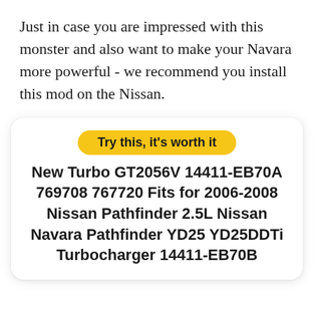Just in case you are impressed with this monster and also want to make your Navara more powerful - we recommend you install this mod on the Nissan.
Try this, it's worth it
New Turbo GT2056V 14411-EB70A 769708 767720 Fits for 2006-2008 Nissan Pathfinder 2.5L Nissan Navara Pathfinder YD25 YD25DDTi Turbocharger 14411-EB70B